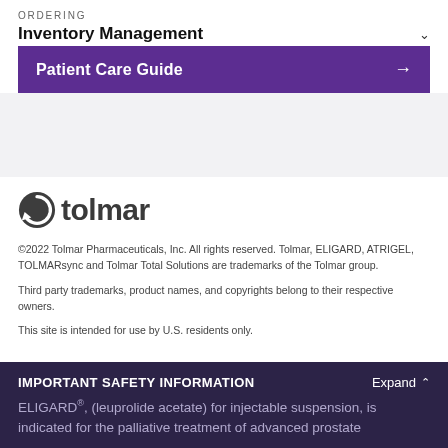ORDERING
Inventory Management
Patient Care Guide →
[Figure (logo): Tolmar company logo with circular arrow icon and wordmark 'tolmar' in dark gray]
©2022 Tolmar Pharmaceuticals, Inc. All rights reserved. Tolmar, ELIGARD, ATRIGEL, TOLMARsync and Tolmar Total Solutions are trademarks of the Tolmar group.
Third party trademarks, product names, and copyrights belong to their respective owners.
This site is intended for use by U.S. residents only.
IMPORTANT SAFETY INFORMATION
ELIGARD®, (leuprolide acetate) for injectable suspension, is indicated for the palliative treatment of advanced prostate